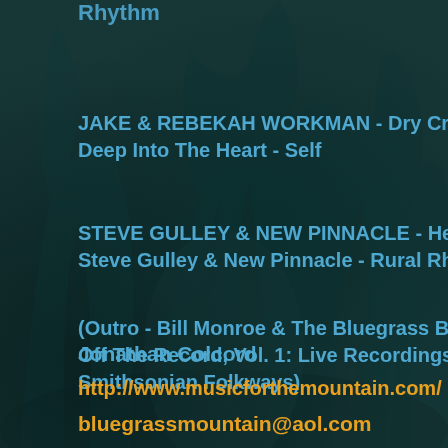Rhythm
JAKE & REBEKAH WORKMAN - Dry Creek S
Deep Into The Heart - Self
STEVE GULLEY & NEW PINNACLE - Hello G
Steve Gulley & New Pinnacle - Rural Rhythm
(Outro - Bill Monroe & The Bluegrass Boys -
Off The Record, Vol. 1: Live Recordings, 195
Smithsonian Folkways)
Jonathan Colcord
http://www.musicforthemountain.com/
bluegrassmountain@aol.com